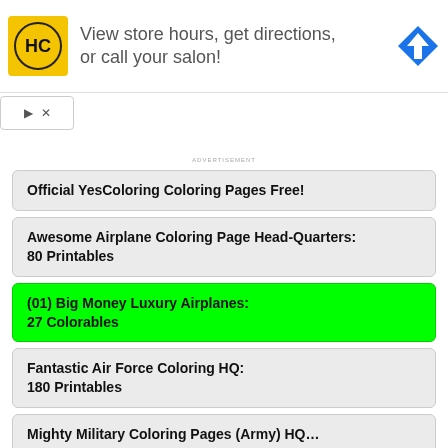[Figure (screenshot): Advertisement banner with HC (Hair Club) yellow logo, text 'View store hours, get directions, or call your salon!' and a blue diamond map direction icon.]
ADVERTISEMENT
Official YesColoring Coloring Pages Free!
Awesome Airplane Coloring Page Head-Quarters: 80 Printables
(01) Big Money Luxury Airplanes: 27 Colorables
Fantastic Air Force Coloring HQ: 180 Printables
Mighty Military Coloring Pages (Army) HQ…